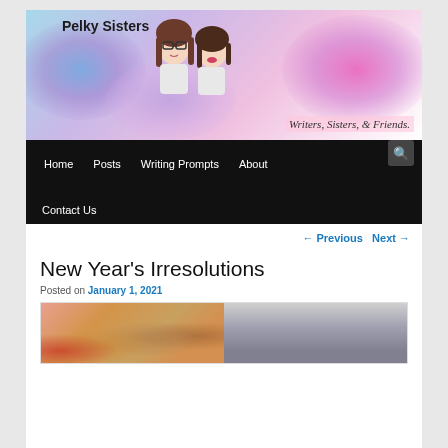[Figure (illustration): Pelky Sisters blog header banner with illustrated characters of two women, colorful smoke clouds in blue, purple and pink, and tagline 'Writers, Sisters, & Friends.']
Home | Posts | Writing Prompts | About | Contact Us
← Previous   Next →
New Year's Irresolutions
Posted on January 1, 2021
[Figure (photo): Two side-by-side photos: left shows fast food items (drink, fries, burger), right shows a person at a desk/laptop.]